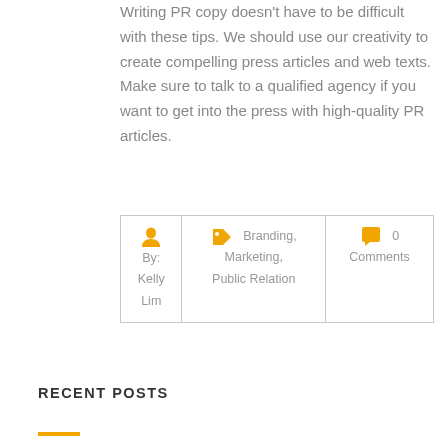Writing PR copy doesn't have to be difficult with these tips. We should use our creativity to create compelling press articles and web texts. Make sure to talk to a qualified agency if you want to get into the press with high-quality PR articles.
| By:
Kelly
Lim | Branding,
Marketing,
Public Relation | 0
Comments |
RECENT POSTS